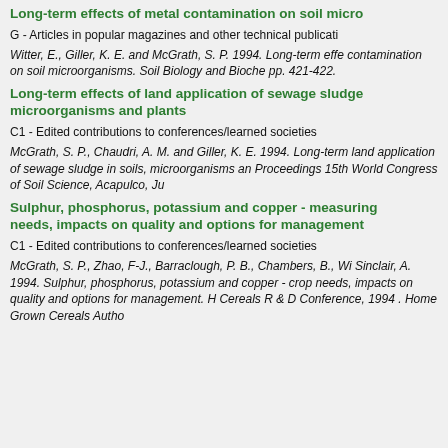Long-term effects of metal contamination on soil micro
G - Articles in popular magazines and other technical publicati
Witter, E., Giller, K. E. and McGrath, S. P. 1994. Long-term effe contamination on soil microorganisms. Soil Biology and Bioche pp. 421-422.
Long-term effects of land application of sewage sludge microorganisms and plants
C1 - Edited contributions to conferences/learned societies
McGrath, S. P., Chaudri, A. M. and Giller, K. E. 1994. Long-term land application of sewage sludge in soils, microorganisms an Proceedings 15th World Congress of Soil Science, Acapulco, Ju
Sulphur, phosphorus, potassium and copper - measuring needs, impacts on quality and options for management
C1 - Edited contributions to conferences/learned societies
McGrath, S. P., Zhao, F-J., Barraclough, P. B., Chambers, B., Wi Sinclair, A. 1994. Sulphur, phosphorus, potassium and copper - crop needs, impacts on quality and options for management. H Cereals R & D Conference, 1994 . Home Grown Cereals Autho